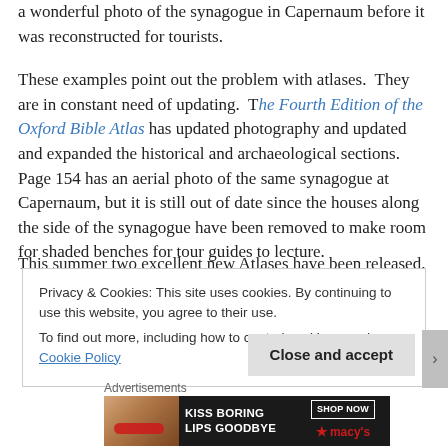a wonderful photo of the synagogue in Capernaum before it was reconstructed for tourists.
These examples point out the problem with atlases.  They are in constant need of updating.  The Fourth Edition of the Oxford Bible Atlas has updated photography and updated and expanded the historical and archaeological sections. Page 154 has an aerial photo of the same synagogue at Capernaum, but it is still out of date since the houses along the side of the synagogue have been removed to make room for shaded benches for tour guides to lecture.
This summer two excellent new Atlases have been released.
Privacy & Cookies: This site uses cookies. By continuing to use this website, you agree to their use.
To find out more, including how to control cookies, see here: Cookie Policy
Close and accept
Advertisements
[Figure (illustration): Advertisement banner for Macy's with text 'KISS BORING LIPS GOODBYE' and 'SHOP NOW' button with Macy's star logo on dark background with woman's face]